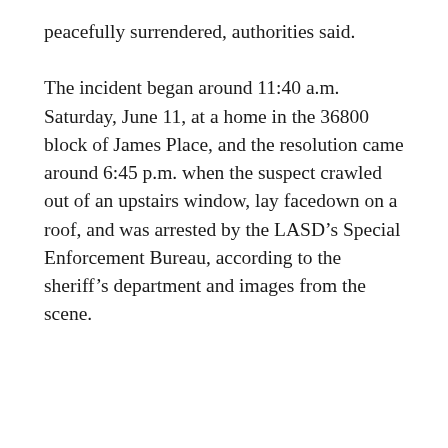peacefully surrendered, authorities said.
The incident began around 11:40 a.m. Saturday, June 11, at a home in the 36800 block of James Place, and the resolution came around 6:45 p.m. when the suspect crawled out of an upstairs window, lay facedown on a roof, and was arrested by the LASD’s Special Enforcement Bureau, according to the sheriff’s department and images from the scene.